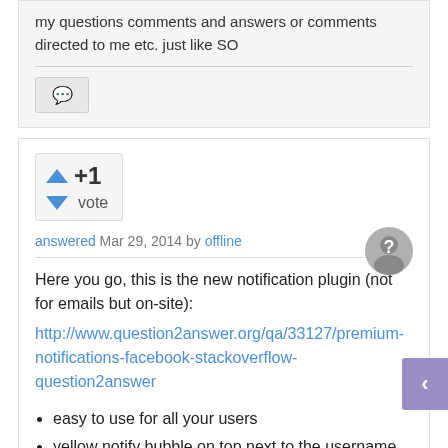my questions comments and answers or comments directed to me etc. just like SO
[Figure (other): Comment button with speech bubble icon]
[Figure (other): Vote box showing +1 vote with up and down arrows]
answered Mar 29, 2014 by offline
Here you go, this is the new notification plugin (not for emails but on-site): http://www.question2answer.org/qa/33127/premium-notifications-facebook-stackoverflow-question2answer
easy to use for all your users
yellow notify bubble on top next to the username